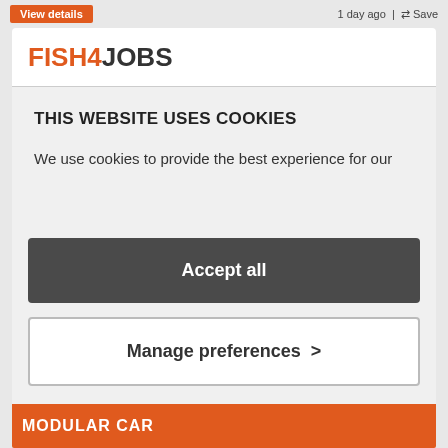View details  1 day ago  Save
[Figure (logo): FISH4JOBS logo in orange and dark grey]
THIS WEBSITE USES COOKIES
We use cookies to provide the best experience for our users. They help our site to work effectively and allow us to offer candidates a more personalised and relevant job search by understanding your interests and preferences. Please 'Accept all' or 'Manage...
Accept all
Manage preferences >
MODULAR CAR